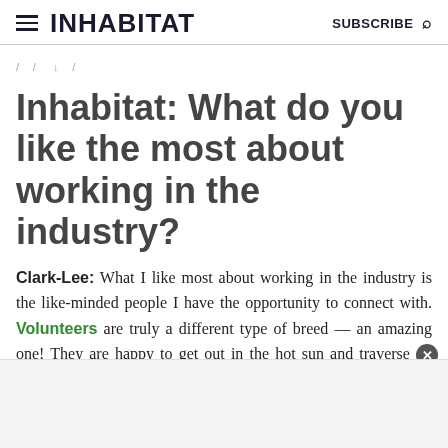INHABITAT  SUBSCRIBE
/ / /
Inhabitat: What do you like the most about working in the industry?
Clark-Lee: What I like most about working in the industry is the like-minded people I have the opportunity to connect with. Volunteers are truly a different type of breed — an amazing one! They are happy to get out in the hot sun and traverse all kinds of terrain just to put trees i